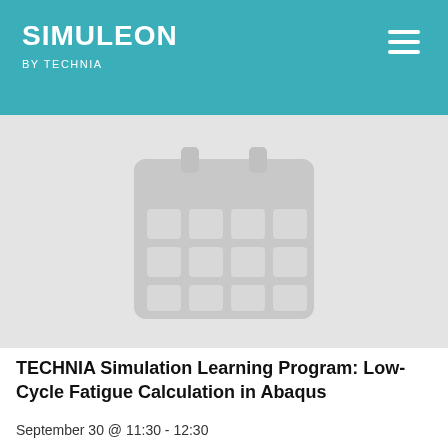SIMULEON BY TECHNIA
[Figure (illustration): Calendar icon placeholder image — grey calendar grid icon on light grey background]
TECHNIA Simulation Learning Program: Low-Cycle Fatigue Calculation in Abaqus
September 30 @ 11:30 - 12:30